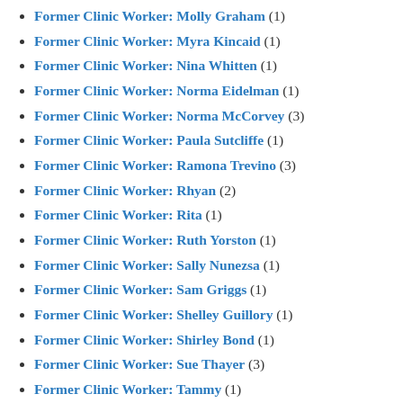Former Clinic Worker: Molly Graham (1)
Former Clinic Worker: Myra Kincaid (1)
Former Clinic Worker: Nina Whitten (1)
Former Clinic Worker: Norma Eidelman (1)
Former Clinic Worker: Norma McCorvey (3)
Former Clinic Worker: Paula Sutcliffe (1)
Former Clinic Worker: Ramona Trevino (3)
Former Clinic Worker: Rhyan (2)
Former Clinic Worker: Rita (1)
Former Clinic Worker: Ruth Yorston (1)
Former Clinic Worker: Sally Nunezsa (1)
Former Clinic Worker: Sam Griggs (1)
Former Clinic Worker: Shelley Guillory (1)
Former Clinic Worker: Shirley Bond (1)
Former Clinic Worker: Sue Thayer (3)
Former Clinic Worker: Tammy (1)
Former Clinic Worker: Tina (...)